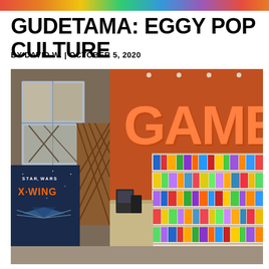[Figure (photo): Colorful horizontal banner strip at top of page with rainbow gradient colors]
GUDETAMA: EGGY POP CULTURE
BY DAVID W. | OCTOBER 5, 2020
[Figure (photo): Interior photo of a game store showing orange walls, a large illuminated GAMES sign in orange letters, shelves stocked with board games on the right, a display counter, and a Star Wars X-Wing banner on the lower left]